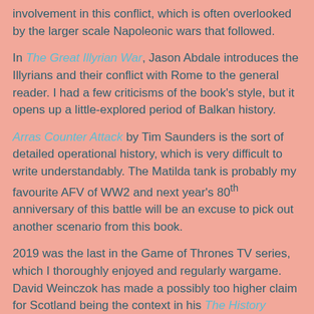involvement in this conflict, which is often overlooked by the larger scale Napoleonic wars that followed.
In The Great Illyrian War, Jason Abdale introduces the Illyrians and their conflict with Rome to the general reader. I had a few criticisms of the book's style, but it opens up a little-explored period of Balkan history.
Arras Counter Attack by Tim Saunders is the sort of detailed operational history, which is very difficult to write understandably. The Matilda tank is probably my favourite AFV of WW2 and next year's 80th anniversary of this battle will be an excuse to pick out another scenario from this book.
2019 was the last in the Game of Thrones TV series, which I thoroughly enjoyed and regularly wargame. David Weinczok has made a possibly too higher claim for Scotland being the context in his The History Behind Game of Thrones, but it's fantasy, so why not!
[Figure (photo): Partial photo of a person, cropped at bottom of page]